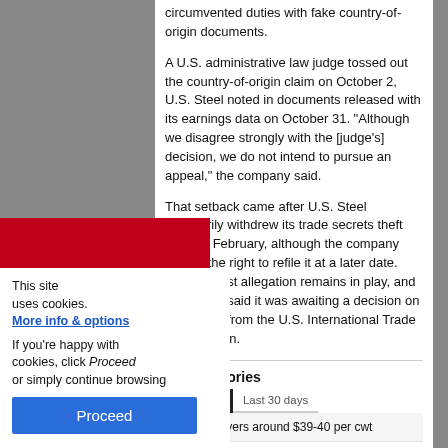circumvented duties with fake country-of-origin documents.
A U.S. administrative law judge tossed out the country-of-origin claim on October 2, U.S. Steel noted in documents released with its earnings data on October 31. “Although we disagree strongly with the [judge’s] decision, we do not intend to pursue an appeal,” the company said.
That setback came after U.S. Steel voluntarily withdrew its trade secrets theft claim in February, although the company retains the right to refile it at a later date. The antitrust allegation remains in play, and U.S. Steel said it was awaiting a decision on the matter from the U.S. International Trade Commission.
Most read stories
Last 24 hours | Last 30 days
CRC index hovers around $39-40 per cwt
Steel scrap prices stable in quiet market
prices widen down on output
r near $40 per hundredweight
This site uses cookies. More info & options
If you're happy with cookies, click Proceed or simply continue browsing
Proceed